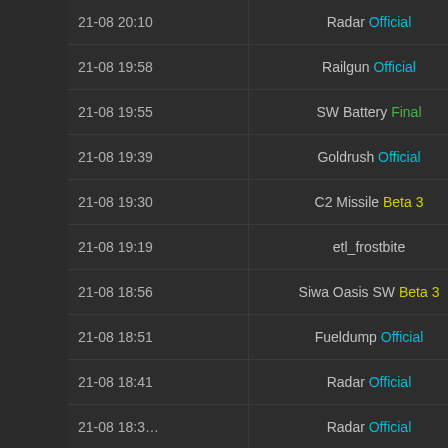| Date/Time | Map | Server |
| --- | --- | --- |
| 21-08 20:10 | Radar Official | [!!]Hin |
| 21-08 19:58 | Railgun Official | [!!]Hin |
| 21-08 19:55 | SW Battery Final | [!!]Hin |
| 21-08 19:39 | Goldrush Official | [!!]Hin |
| 21-08 19:30 | C2 Missile Beta 3 | [!!]Hin |
| 21-08 19:19 | etl_frostbite | [!!]Hin |
| 21-08 18:56 | Siwa Oasis SW Beta 3 | [!!]Hin |
| 21-08 18:51 | Fueldump Official | [!!]Hin |
| 21-08 18:41 | Radar Official | [!!]Hin |
| 21-08 18:3? | Radar Official | [!!]Hin |